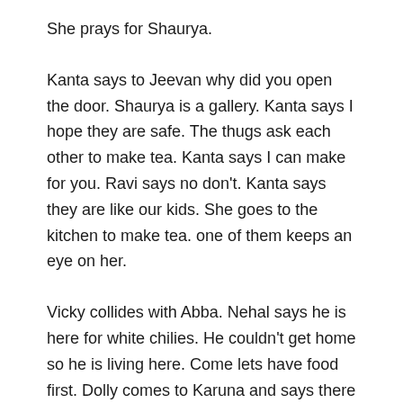She prays for Shaurya.
Kanta says to Jeevan why did you open the door. Shaurya is a gallery. Kanta says I hope they are safe. The thugs ask each other to make tea. Kanta says I can make for you. Ravi says no don't. Kanta says they are like our kids. She goes to the kitchen to make tea. one of them keeps an eye on her.
Vicky collides with Abba. Nehal says he is here for white chilies. He couldn't get home so he is living here. Come lets have food first. Dolly comes to Karuna and says there are two people in the house. They are very dangerous. They have a big knife. She says they are not the right people. We have to be careful. Karuna says I will talk to Shaurya in the morning.